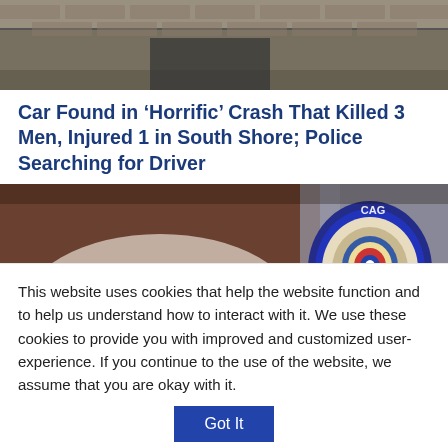[Figure (photo): Top portion of a building exterior with brick wall, partially visible at top of page]
Car Found in ‘Horrific’ Crash That Killed 3 Men, Injured 1 in South Shore; Police Searching for Driver
[Figure (photo): Close-up photo of a Chicago Police badge/patch on a police officer's uniform shoulder, with blurred background showing papers and a pen]
This website uses cookies that help the website function and to help us understand how to interact with it. We use these cookies to provide you with improved and customized user-experience. If you continue to the use of the website, we assume that you are okay with it.
Got It